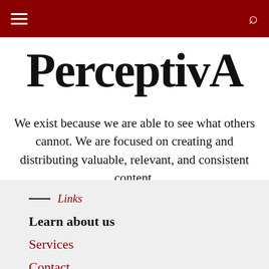PerceptivA navigation bar with hamburger menu and search icon
[Figure (logo): PerceptivA logo with black serif text and red letter A]
We exist because we are able to see what others cannot. We are focused on creating and distributing valuable, relevant, and consistent content.
— Links
Learn about us
Services
Contact
About